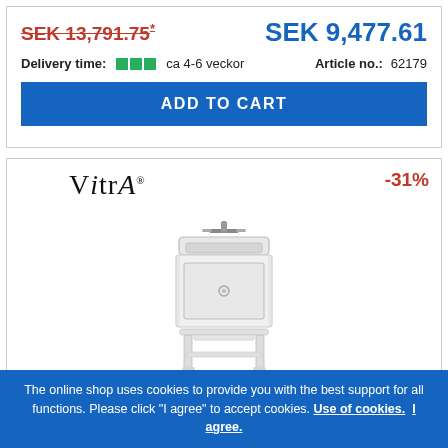SEK 13,791.75* (strikethrough/old price)
SEK 9,477.61 (new price)
Delivery time: ca 4-6 veckor
Article no.: 62179
ADD TO CART
[Figure (logo): VitrA brand logo in serif font]
-31%
[Figure (photo): White bathroom vanity unit with sink, faucet, drawer and lower shelf on legs]
The online shop uses cookies to provide you with the best support for all functions. Please click "I agree" to accept cookies. Use of cookies. I agree.